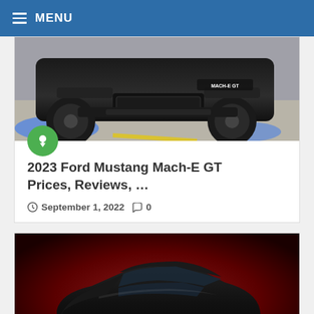MENU
[Figure (photo): Front close-up of a black 2023 Ford Mustang Mach-E GT with blue underlighting and 'MACH-E GT' badge visible on the front bumper]
2023 Ford Mustang Mach-E GT Prices, Reviews, …
September 1, 2022  0
[Figure (photo): Black Ford Mustang Mach-E shown in three-quarter front view against a dramatic red background]